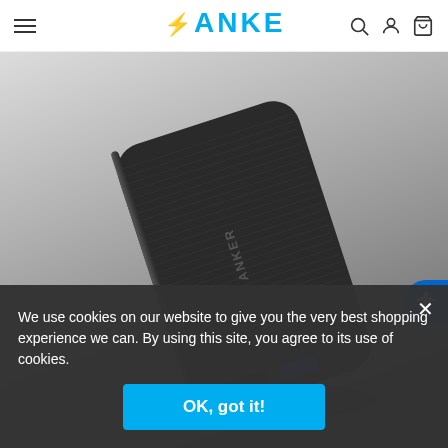ANKER
[Figure (photo): Anker power bank / portable charger shown at an angle, black with fabric texture, displaying the ANKER logo, with USB ports visible at the bottom on a gradient grey background]
We use cookies on our website to give you the very best shopping experience we can. By using this site, you agree to its use of cookies.
OK, got it!